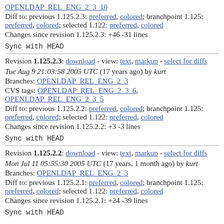OPENLDAP_REL_ENG_2_3_10 (link)
Diff to: previous 1.125.2.3: preferred, colored; branchpoint 1.125: preferred, colored; selected 1.122: preferred, colored
Changes since revision 1.125.2.3: +46 -31 lines
Sync with HEAD
Revision 1.125.2.3: download - view: text, markup - select for diffs
Tue Aug 9 21:03:58 2005 UTC (17 years ago) by kurt
Branches: OPENLDAP_REL_ENG_2_3
CVS tags: OPENLDAP_REL_ENG_2_3_6, OPENLDAP_REL_ENG_2_3_5
Diff to: previous 1.125.2.2: preferred, colored; branchpoint 1.125: preferred, colored; selected 1.122: preferred, colored
Changes since revision 1.125.2.2: +3 -3 lines
Sync with HEAD
Revision 1.125.2.2: download - view: text, markup - select for diffs
Mon Jul 11 05:55:30 2005 UTC (17 years, 1 month ago) by kurt
Branches: OPENLDAP_REL_ENG_2_3
Diff to: previous 1.125.2.1: preferred, colored; branchpoint 1.125: preferred, colored; selected 1.122: preferred, colored
Changes since revision 1.125.2.1: +24 -39 lines
Sync with HEAD